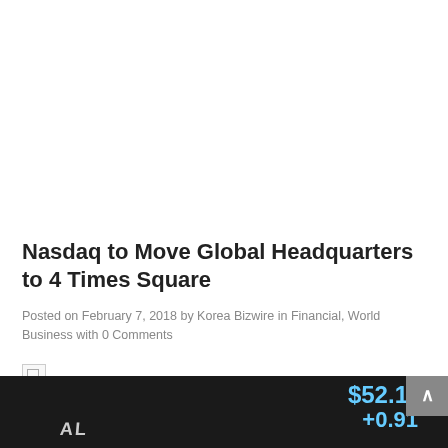Nasdaq to Move Global Headquarters to 4 Times Square
Posted on February 7, 2018 by Korea Bizwire in Financial, World Business with 0 Comments
[Figure (photo): Broken image placeholder icon]
[Figure (photo): Dark background image strip showing stock ticker display with price $52.1x and change +0.91 in blue text, partial diagonal text visible]